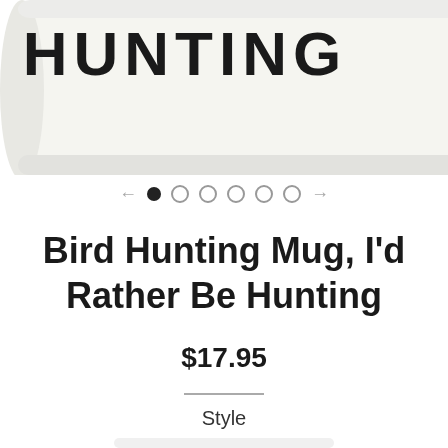[Figure (photo): Top portion of a white ceramic coffee mug with bold black text reading HUNTING on it, shown from a slight angle with the handle visible on the right side. The image is cropped showing only the upper half of the mug against a white background.]
← ● ○ ○ ○ ○ ○ →
Bird Hunting Mug, I'd Rather Be Hunting
$17.95
Style